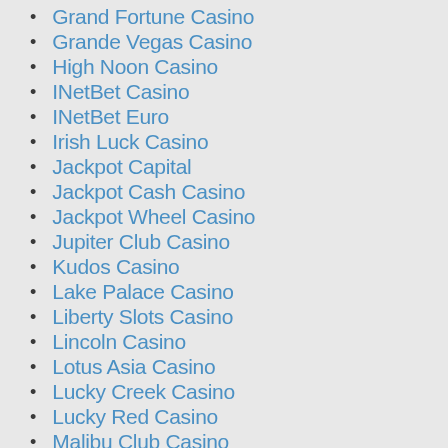Grand Fortune Casino
Grande Vegas Casino
High Noon Casino
INetBet Casino
INetBet Euro
Irish Luck Casino
Jackpot Capital
Jackpot Cash Casino
Jackpot Wheel Casino
Jupiter Club Casino
Kudos Casino
Lake Palace Casino
Liberty Slots Casino
Lincoln Casino
Lotus Asia Casino
Lucky Creek Casino
Lucky Red Casino
Malibu Club Casino